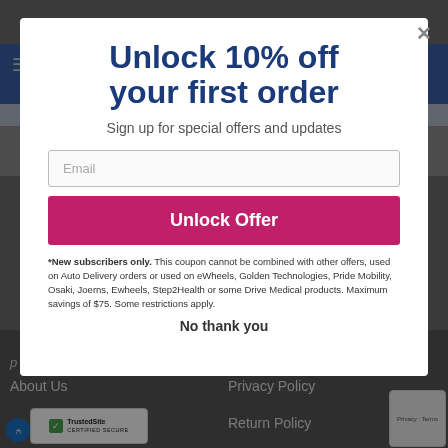Unlock 10% off your first order
Sign up for special offers and updates
Email
Unlock Offer
*New subscribers only. This coupon cannot be combined with other offers, used on Auto Delivery orders or used on eWheels, Golden Technologies, Pride Mobility, Osaki, Joerns, Ewheels, Step2Health or some Drive Medical products. Maximum savings of $75. Some restrictions apply.
No thank you
About Us
Privacy Policy
Return Policy